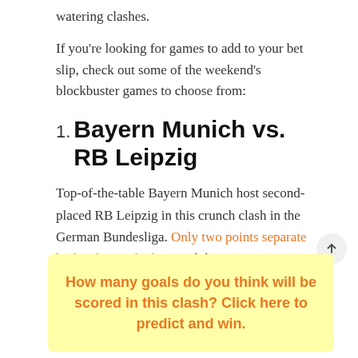watering clashes.
If you're looking for games to add to your bet slip, check out some of the weekend's blockbuster games to choose from:
1. Bayern Munich vs. RB Leipzig
Top-of-the-table Bayern Munich host second-placed RB Leipzig in this crunch clash in the German Bundesliga. Only two points separate both sides on the log. And this game can either open up the gap between these two sides or make the title race tighter.
How many goals do you think will be scored in this clash? Click here to predict and win.